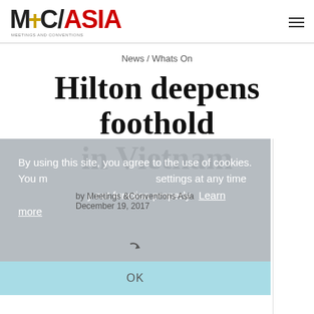MC/ASIA MEETINGS AND CONVENTIONS
News / Whats On
Hilton deepens foothold in Vietnam
By using this site, you agree to the use of cookies. You may change your cookie settings at any time, but the site may not function properly. Learn more
by Meetings &Conventions Asia
December 19, 2017
OK